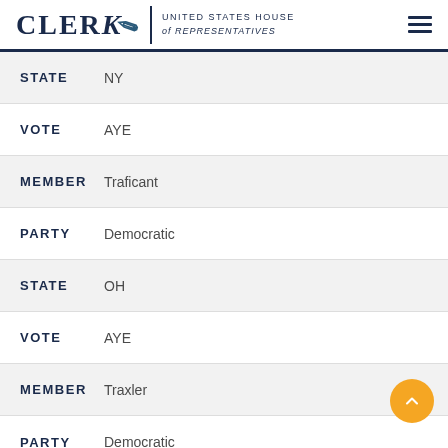CLERK | UNITED STATES HOUSE of REPRESENTATIVES
STATE  NY
VOTE  AYE
MEMBER  Traficant
PARTY  Democratic
STATE  OH
VOTE  AYE
MEMBER  Traxler
PARTY  Democratic